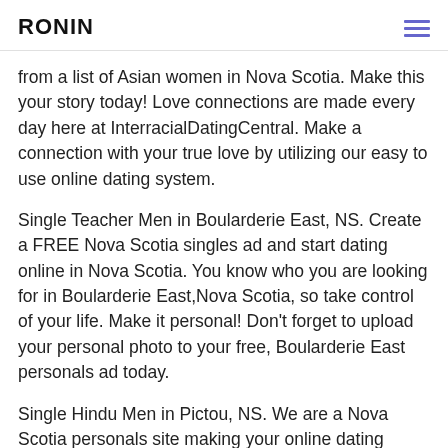RONIN
from a list of Asian women in Nova Scotia. Make this your story today! Love connections are made every day here at InterracialDatingCentral. Make a connection with your true love by utilizing our easy to use online dating system.
Single Teacher Men in Boularderie East, NS. Create a FREE Nova Scotia singles ad and start dating online in Nova Scotia. You know who you are looking for in Boularderie East,Nova Scotia, so take control of your life. Make it personal! Don't forget to upload your personal photo to your free, Boularderie East personals ad today.
Single Hindu Men in Pictou, NS. We are a Nova Scotia personals site making your online dating experience the best. You're here to meet people and find a profile in Pictou, Nova Scotia. Match.com helps you do that. Filling out a